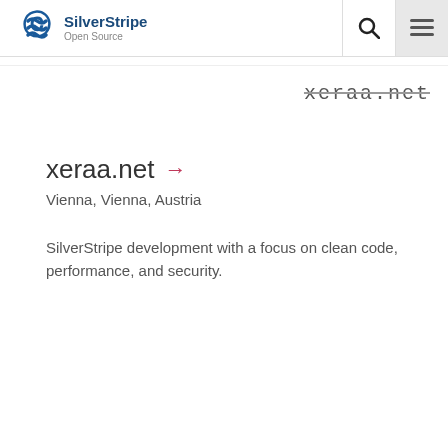SilverStripe Open Source
[Figure (illustration): xeraa.net text rendered in decorative/typewriter font with strikethrough]
xeraa.net →
Vienna, Vienna, Austria
SilverStripe development with a focus on clean code, performance, and security.